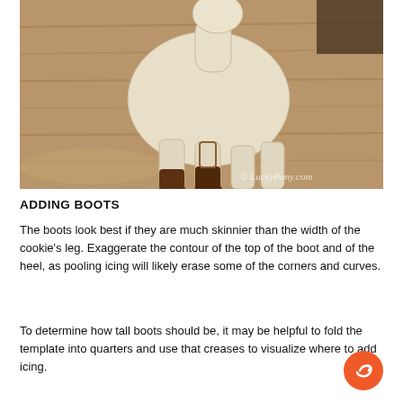[Figure (photo): A cookie in the shape of a giraffe or animal figure on a wooden surface, showing partially chocolate-dipped leg/boot areas. A watermark reads '© LuckyPony.com'.]
ADDING BOOTS
The boots look best if they are much skinnier than the width of the cookie's leg. Exaggerate the contour of the top of the boot and of the heel, as pooling icing will likely erase some of the corners and curves.
To determine how tall boots should be, it may be helpful to fold the template into quarters and use that creases to visualize where to add icing.